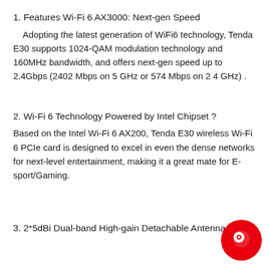1. Features Wi-Fi 6 AX3000: Next-gen Speed
Adopting the latest generation of WiFi6 technology, Tenda E30 supports 1024-QAM modulation technology and 160MHz bandwidth, and offers next-gen speed up to 2.4Gbps (2402 Mbps on 5 GHz or 574 Mbps on 2 4 GHz) .
2. Wi-Fi 6 Technology Powered by Intel Chipset ?
Based on the Intel Wi-Fi 6 AX200, Tenda E30 wireless Wi-Fi 6 PCIe card is designed to excel in even the dense networks for next-level entertainment, making it a great mate for E-sport/Gaming.
3. 2*5dBi Dual-band High-gain Detachable Antenna